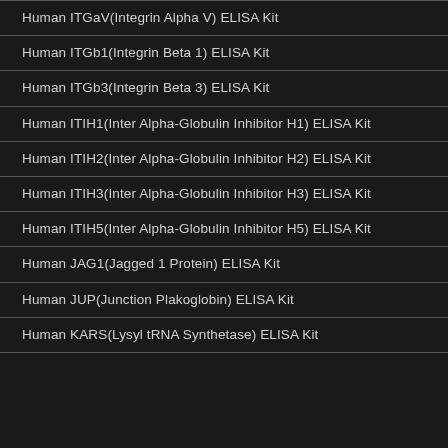Human ITGaV(Integrin Alpha V) ELISA Kit
Human ITGb1(Integrin Beta 1) ELISA Kit
Human ITGb3(Integrin Beta 3) ELISA Kit
Human ITIH1(Inter Alpha-Globulin Inhibitor H1) ELISA Kit
Human ITIH2(Inter Alpha-Globulin Inhibitor H2) ELISA Kit
Human ITIH3(Inter Alpha-Globulin Inhibitor H3) ELISA Kit
Human ITIH5(Inter Alpha-Globulin Inhibitor H5) ELISA Kit
Human JAG1(Jagged 1 Protein) ELISA Kit
Human JUP(Junction Plakoglobin) ELISA Kit
Human KARS(Lysyl tRNA Synthetase) ELISA Kit